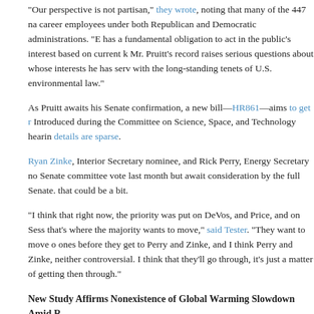“Our perspective is not partisan,” they wrote, noting that many of the 447 na career employees under both Republican and Democratic administrations. “E has a fundamental obligation to act in the public’s interest based on current k Mr. Pruitt’s record raises serious questions about whose interests he has serv with the long-standing tenets of U.S. environmental law.”
As Pruitt awaits his Senate confirmation, a new bill—HR861—aims to get r Introduced during the Committee on Science, Space, and Technology hearin details are sparse.
Ryan Zinke, Interior Secretary nominee, and Rick Perry, Energy Secretary no Senate committee vote last month but await consideration by the full Senate. that could be a bit.
“I think that right now, the priority was put on DeVos, and Price, and on Sess that’s where the majority wants to move,” said Tester. “They want to move o ones before they get to Perry and Zinke, and I think Perry and Zinke, neither controversial. I think that they’ll go through, it’s just a matter of getting then through.”
New Study Affirms Nonexistence of Global Warming Slowdown Amid R
A study by the National Oceanic and Atmospheric Administration (NOAA)